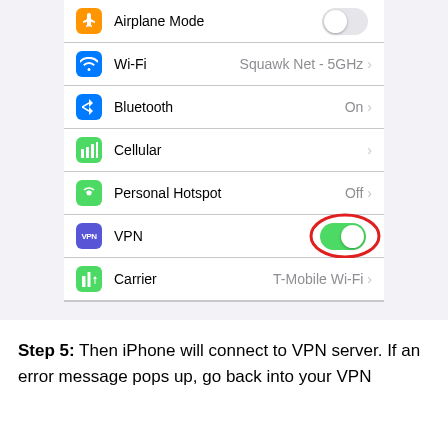[Figure (screenshot): iOS Settings screen showing Airplane Mode (off), Wi-Fi (Squawk Net - 5GHz), Bluetooth (On), Cellular, Personal Hotspot (Off), VPN (toggle highlighted with red circle, switched ON in green), Carrier (T-Mobile Wi-Fi), then second group: Notifications, Control Center, Do Not Disturb]
Step 5: Then iPhone will connect to VPN server. If an error message pops up, go back into your VPN